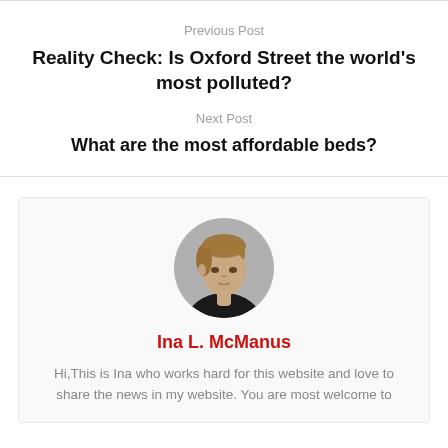Previous Post
Reality Check: Is Oxford Street the world's most polluted?
Next Post
What are the most affordable beds?
[Figure (photo): Circular author avatar photo of a young man with light brown hair wearing a dark jacket, against a grey background]
Ina L. McManus
Hi,This is Ina who works hard for this website and love to share the news in my website. You are most welcome to